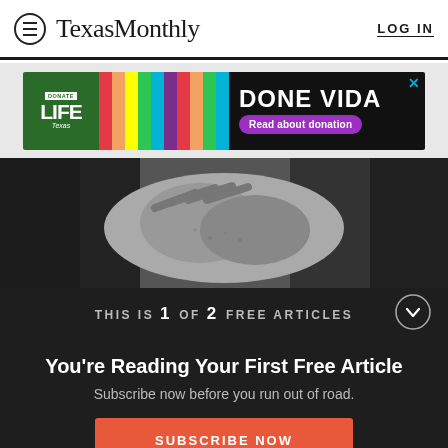TexasMonthly  LOG IN
[Figure (photo): Advertisement banner for Donate Life Texas - DONE VIDA, with colorful vertical stripes and a button 'Read about donation']
[Figure (photo): Black and white close-up photo of tattooed hands]
THIS IS 1 OF 2 FREE ARTICLES
You're Reading Your First Free Article
Subscribe now before you run out of road.
SUBSCRIBE NOW
Already a subscriber? Log in